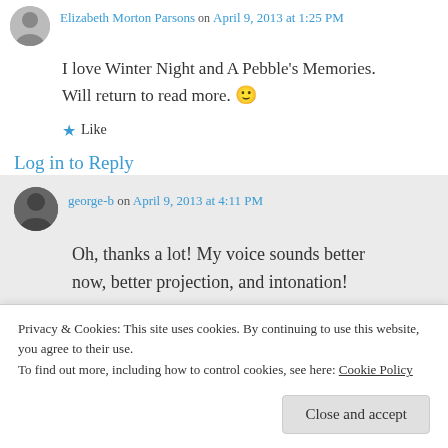Elizabeth Morton Parsons on April 9, 2013 at 1:25 PM
I love Winter Night and A Pebble's Memories. Will return to read more. 🙂
★ Like
Log in to Reply
george-b on April 9, 2013 at 4:11 PM
Oh, thanks a lot! My voice sounds better now, better projection, and intonation!
Privacy & Cookies: This site uses cookies. By continuing to use this website, you agree to their use.
To find out more, including how to control cookies, see here: Cookie Policy
Close and accept